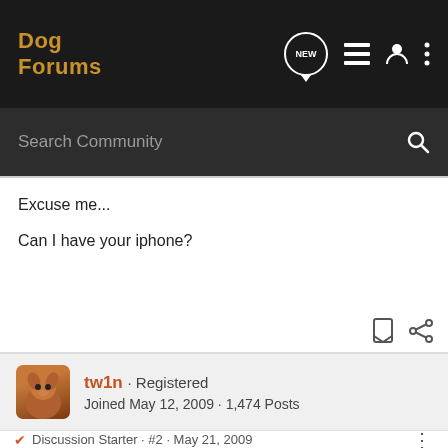Dog Forums
Excuse me...

Can I have your iphone?
tw1n · Registered
Joined May 12, 2009 · 1,474 Posts
Discussion Starter · #2 · May 21, 2009
Luna finds a stick